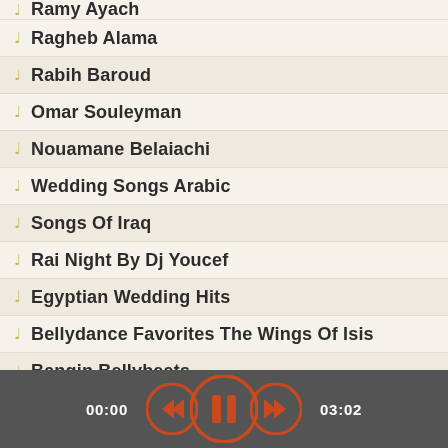Ramy Ayach
Ragheb Alama
Rabih Baroud
Omar Souleyman
Nouamane Belaiachi
Wedding Songs Arabic
Songs Of Iraq
Rai Night By Dj Youcef
Egyptian Wedding Hits
Bellydance Favorites The Wings Of Isis
Bangin Bellybeats
Baklava Sweet Sounds From The Orient
00:00  [rewind] [pause] [forward]  03:02